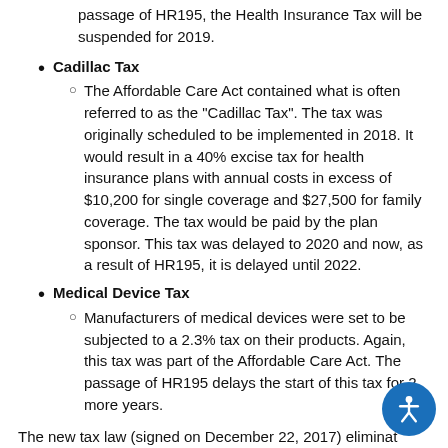passage of HR195, the Health Insurance Tax will be suspended for 2019.
Cadillac Tax
The Affordable Care Act contained what is often referred to as the "Cadillac Tax". The tax was originally scheduled to be implemented in 2018. It would result in a 40% excise tax for health insurance plans with annual costs in excess of $10,200 for single coverage and $27,500 for family coverage. The tax would be paid by the plan sponsor. This tax was delayed to 2020 and now, as a result of HR195, it is delayed until 2022.
Medical Device Tax
Manufacturers of medical devices were set to be subjected to a 2.3% tax on their products. Again, this tax was part of the Affordable Care Act. The passage of HR195 delays the start of this tax for 2 more years.
The new tax law (signed on December 22, 2017) eliminates individual health insurance mandate penalty starting in 2019. The employer mandate for Applicable Large Employers